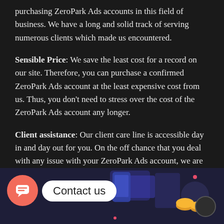purchasing ZeroPark Ads accounts in this field of business. We have a long and solid track of serving numerous clients which made us encountered.
Sensible Price: We save the least cost for a record on our site. Therefore, you can purchase a confirmed ZeroPark Ads account at the least expensive cost from us. Thus, you don't need to stress over the cost of the ZeroPark Ads account any longer.
Client assistance: Our client care line is accessible day in and day out for you. On the off chance that you deal with any issue with your ZeroPark Ads account, we are consistently there for you. Thus, you can reach us any time you need.
[Figure (illustration): Contact us banner with a pink/red chat bubble icon on the left, a white 'Contact us' pill label, and decorative tech/finance illustration graphics on the right side on a dark navy background.]